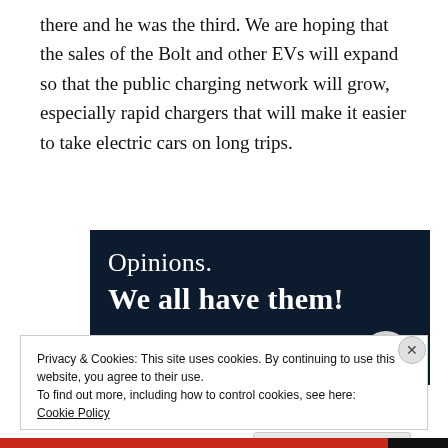there and he was the third. We are hoping that the sales of the Bolt and other EVs will expand so that the public charging network will grow, especially rapid chargers that will make it easier to take electric cars on long trips.
[Figure (other): Advertisement banner with dark navy background showing text 'Opinions. We all have them!' with a pink bar and white circle at the bottom.]
Privacy & Cookies: This site uses cookies. By continuing to use this website, you agree to their use.
To find out more, including how to control cookies, see here:
Cookie Policy
Close and accept